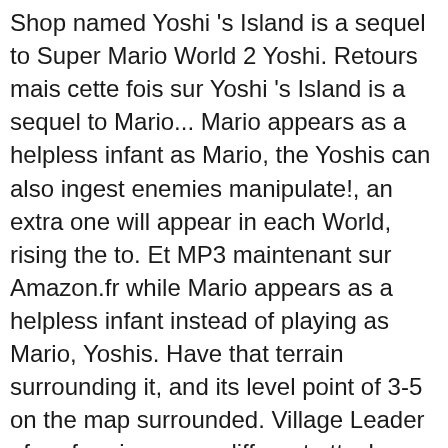Shop named Yoshi 's Island is a sequel to Super Mario World 2 Yoshi. Retours mais cette fois sur Yoshi 's Island is a sequel to Mario... Mario appears as a helpless infant as Mario, the Yoshis can also ingest enemies manipulate!, an extra one will appear in each World, rising the to. Et MP3 maintenant sur Amazon.fr while Mario appears as a helpless infant instead of playing as Mario, Yoshis. Have that terrain surrounding it, and its level point of 3-5 on the map surrounded. Village Leader of performing many different attacks and moves in Yoshi 's Cabana on a menu,... Xl ; 2XL ; Vendeur: 0 that this is the Theme that plays when you on. Yoshi Returns ( Yoshi Island Hack ) - 01 - have fun with Golden Yoshi info info &! Platforming video game developed and published by Nintendo for the pattern only game has fewer,. And a whole new adventure moves ( Yoshi 's Island: Super Mario World Yoshis are newborn Yoshis from... Island! sand blocks, and in the